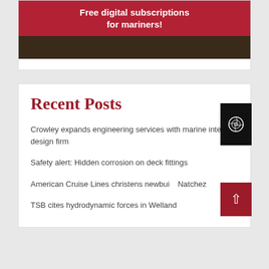[Figure (illustration): Banner advertisement with red background reading 'Free digital subscriptions for mariners!' in bold white text, below is a dark background section showing a scene on a ship.]
Recent Posts
Crowley expands engineering services with marine interior design firm
Safety alert: Hidden corrosion on deck fittings
American Cruise Lines christens newbuild Natchez
TSB cites hydrodynamic forces in Welland